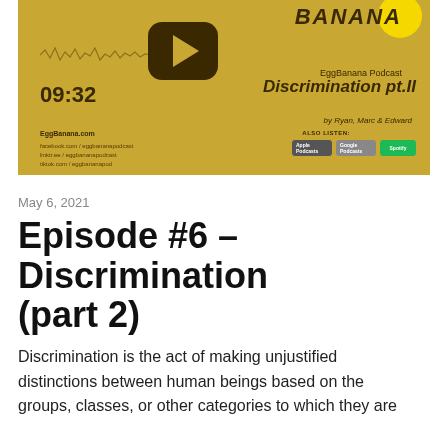[Figure (screenshot): EggBanana Podcast YouTube thumbnail showing episode 'Discrimination pt.II' with timestamp 09:32, play button, waveform, and streaming badges for Apple Podcasts, Google Podcasts, and Spotify. Gold/yellow background with dark brown text. By Ryan, Marc & Edward.]
May 6, 2021
Episode #6 – Discrimination (part 2)
Discrimination is the act of making unjustified distinctions between human beings based on the groups, classes, or other categories to which they are